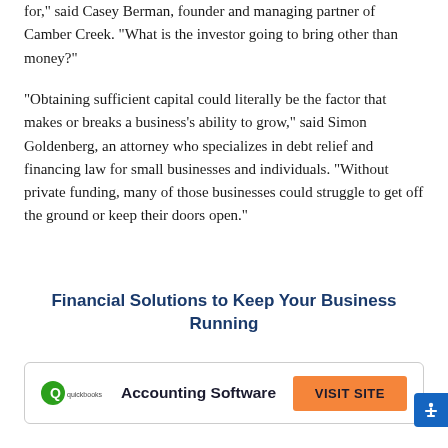for," said Casey Berman, founder and managing partner of Camber Creek. "What is the investor going to bring other than money?"
"Obtaining sufficient capital could literally be the factor that makes or breaks a business's ability to grow," said Simon Goldenberg, an attorney who specializes in debt relief and financing law for small businesses and individuals. "Without private funding, many of those businesses could struggle to get off the ground or keep their doors open."
Financial Solutions to Keep Your Business Running
| Product | Category | Action |
| --- | --- | --- |
| QuickBooks | Accounting Software | VISIT SITE |